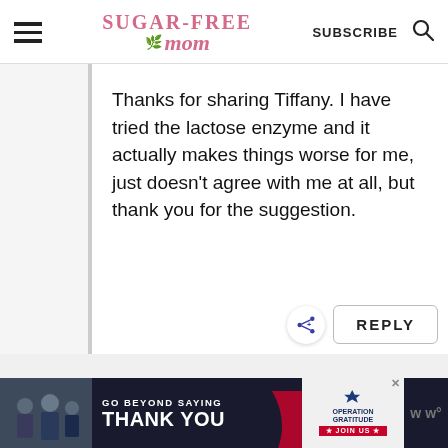Sugar-Free Mom — SUBSCRIBE
Thanks for sharing Tiffany. I have tried the lactose enzyme and it actually makes things worse for me, just doesn't agree with me at all, but thank you for the suggestion.
[Figure (screenshot): REPLY button and share icon]
[Figure (photo): Advertisement banner: GO BEYOND SAYING THANK YOU — Operation Gratitude JOIN US]